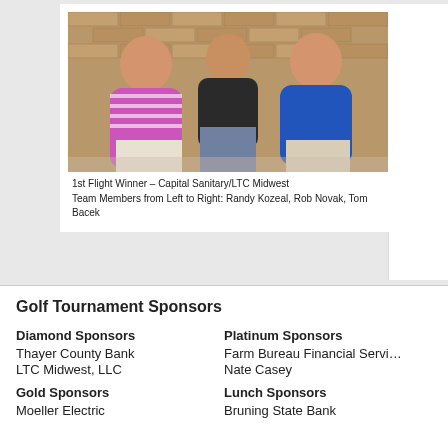[Figure (photo): Three men standing in front of a brick wall. Left man wears a purple/white striped polo, center man wears a dark polo, right man wears a blue polo.]
1st Flight Winner – Capital Sanitary/LTC Midwest
Team Members from Left to Right: Randy Kozeal, Rob Novak, Tom Bacek
Golf Tournament Sponsors
Diamond Sponsors
Thayer County Bank
LTC Midwest, LLC
Gold Sponsors
Moeller Electric
Platinum Sponsors
Farm Bureau Financial Servi…
Nate Casey
Lunch Sponsors
Bruning State Bank